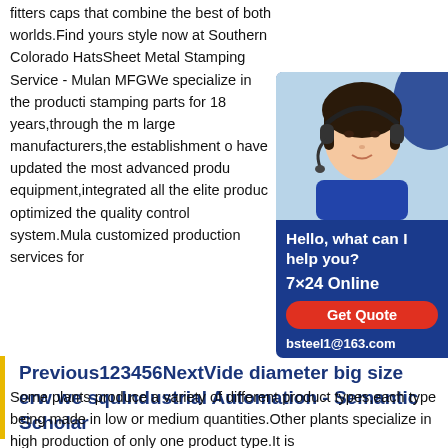fitters caps that combine the best of both worlds.Find yours style now at Southern Colorado HatsSheet Metal Stamping Service - Mulan MFGWe specialize in the producti stamping parts for 18 years,through the m large manufacturers,the establishment o have updated the most advanced produ equipment,integrated all the elite produc optimized the quality control system.Mula customized production services for
[Figure (photo): Chat widget showing a woman with a headset (customer service representative) on a dark blue background. Widget shows 'Hello, what can I help you?' text, '7×24 Online' label, a 'Get Quote' red button, and 'bsteel1@163.com' email address.]
Previous123456NextVide diameter big size erw we squIndustrial Automation - Semantic Scholar
Some plants produce a variety of different product types,each type being made in low or medium quantities.Other plants specialize in high production of only one product type.It is